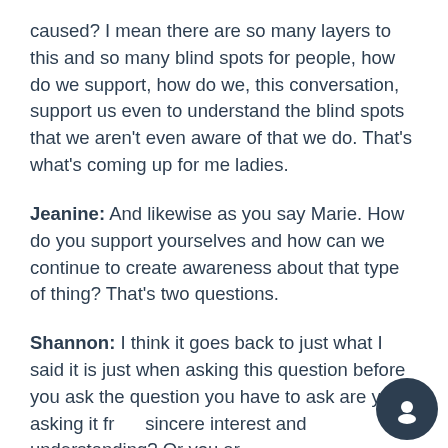caused? I mean there are so many layers to this and so many blind spots for people, how do we support, how do we, this conversation, support us even to understand the blind spots that we aren't even aware of that we do. That's what's coming up for me ladies.
Jeanine: And likewise as you say Marie. How do you support yourselves and how can we continue to create awareness about that type of thing? That's two questions.
Shannon: I think it goes back to just what I said it is just when asking this question before you ask the question you have to ask are you asking it from sincere interest and understanding? Or you are just